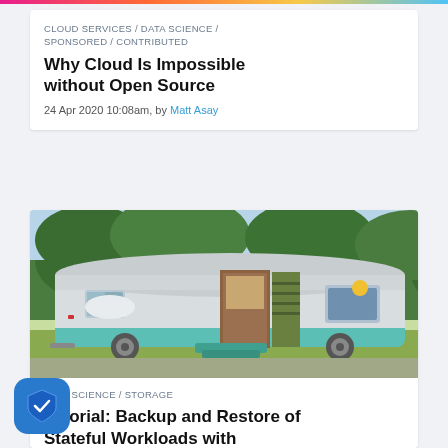CLOUD SERVICES / DATA SCIENCE / SPONSORED / CONTRIBUTED
Why Cloud Is Impossible without Open Source
24 Apr 2020 10:08am, by Matt Asay
[Figure (photo): A vintage retro camper/trailer with teal and silver color scheme, parked outdoors with trees in the background]
DATA SCIENCE / STORAGE
Tutorial: Backup and Restore of Stateful Workloads with Portworx
24 Apr 2020 9:05am, by Janakiram MSV